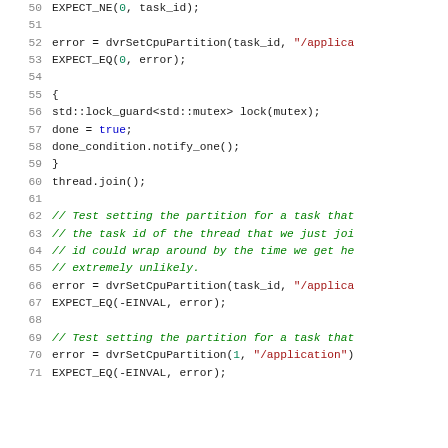[Figure (screenshot): C++ source code snippet showing lines 50-71, featuring thread synchronization and dvrSetCpuPartition function calls with EXPECT_EQ/EXPECT_NE assertions and inline comments.]